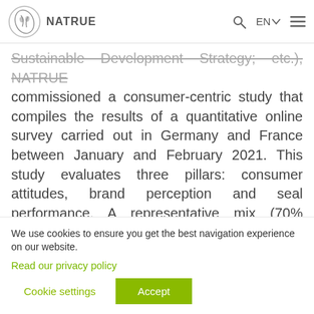NATRUE
Sustainable Development Strategy; etc.), NATRUE commissioned a consumer-centric study that compiles the results of a quantitative online survey carried out in Germany and France between January and February 2021. This study evaluates three pillars: consumer attitudes, brand perception and seal performance. A representative mix (70% female, 30% male; aged between 18 and 65 years old) of over 1000 consumers from Germany and France, respectively, took part. Around 30 brands
We use cookies to ensure you get the best navigation experience on our website.
Read our privacy policy
Cookie settings  Accept